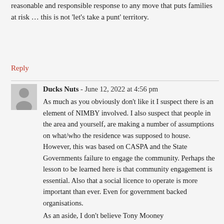reasonable and responsible response to any move that puts families at risk … this is not 'let's take a punt' territory.
Reply
Ducks Nuts - June 12, 2022 at 4:56 pm
As much as you obviously don't like it I suspect there is an element of NIMBY involved. I also suspect that people in the area and yourself, are making a number of assumptions on what/who the residence was supposed to house. However, this was based on CASPA and the State Governments failure to engage the community. Perhaps the lesson to be learned here is that community engagement is essential. Also that a social licence to operate is more important than ever. Even for government backed organisations.
As an aside, I don't believe Tony Mooney